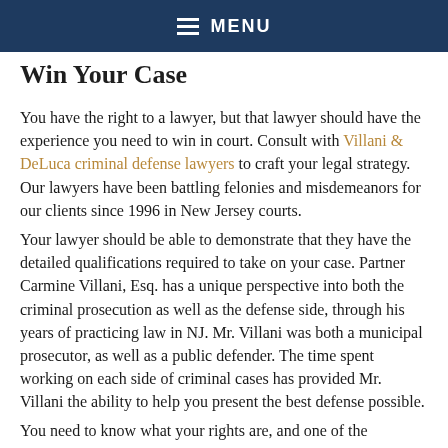MENU
Win Your Case
You have the right to a lawyer, but that lawyer should have the experience you need to win in court. Consult with Villani & DeLuca criminal defense lawyers to craft your legal strategy. Our lawyers have been battling felonies and misdemeanors for our clients since 1996 in New Jersey courts.
Your lawyer should be able to demonstrate that they have the detailed qualifications required to take on your case. Partner Carmine Villani, Esq. has a unique perspective into both the criminal prosecution as well as the defense side, through his years of practicing law in NJ. Mr. Villani was both a municipal prosecutor, as well as a public defender. The time spent working on each side of criminal cases has provided Mr. Villani the ability to help you present the best defense possible.
You need to know what your rights are, and one of the